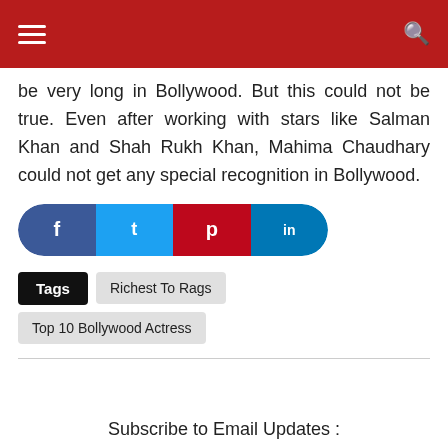be very long in Bollywood. But this could not be true. Even after working with stars like Salman Khan and Shah Rukh Khan, Mahima Chaudhary could not get any special recognition in Bollywood.
[Figure (infographic): Social share buttons: Facebook (blue), Twitter (cyan), Pinterest (red), LinkedIn (blue) in a pill-shaped row]
Tags  Richest To Rags  Top 10 Bollywood Actress
Subscribe to Email Updates :